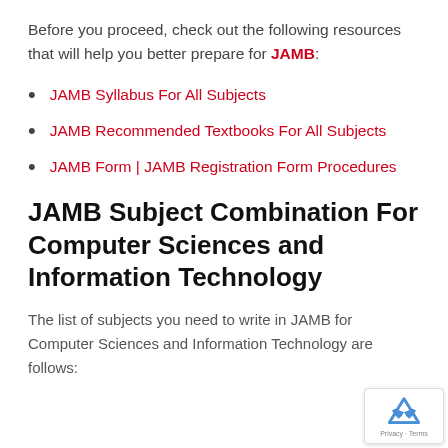Before you proceed, check out the following resources that will help you better prepare for JAMB:
JAMB Syllabus For All Subjects
JAMB Recommended Textbooks For All Subjects
JAMB Form | JAMB Registration Form Procedures
JAMB Subject Combination For Computer Sciences and Information Technology
The list of subjects you need to write in JAMB for Computer Sciences and Information Technology are as follows: